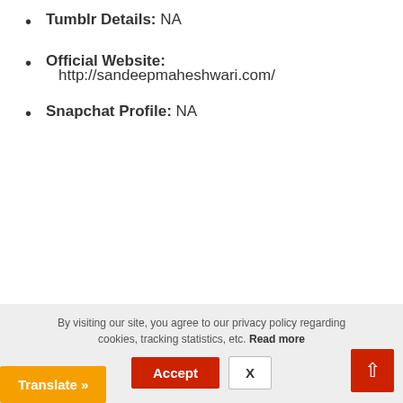Tumblr Details: NA
Official Website: http://sandeepmaheshwari.com/
Snapchat Profile: NA
By visiting our site, you agree to our privacy policy regarding cookies, tracking statistics, etc. Read more | Accept | X | Translate »